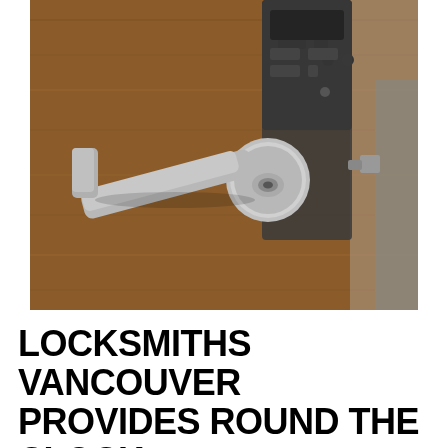[Figure (photo): Close-up photo of a commercial door lever handle with keypad lock on a wooden door. The handle is silver/brushed aluminum with a key cylinder, and a black electronic keypad is mounted above it on the door.]
LOCKSMITHS VANCOUVER PROVIDES ROUND THE CLOCK LOCKSMITH SERVICES IN ALVIN